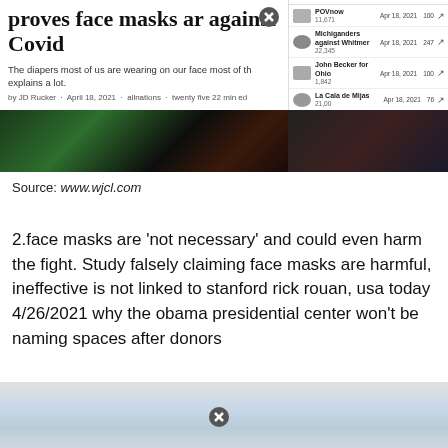[Figure (screenshot): Screenshot of a webpage showing a news article headline about face masks and Covid, with a sidebar showing a list of Facebook pages with dates and follower counts. Below the header is an image of hands with green and red lighting.]
Source: www.wjcl.com
2.face masks are ‘not necessary’ and could even harm the fight. Study falsely claiming face masks are harmful, ineffective is not linked to stanford rick rouan, usa today 4/26/2021 why the obama presidential center won’t be naming spaces after donors
[Figure (screenshot): Bottom portion of a screenshot showing a person wearing a white face mask against a light blue background, with a close button overlay and a scroll-to-top button.]